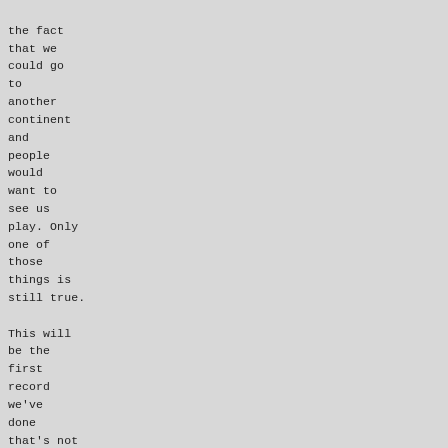the fact that we could go to another continent and people would want to see us play. Only one of those things is still true.

This will be the first record we've done that's not going to be available on CD. It's crazy - there are so few people buying CDs any more; "Terra Nova" and "Black Madonna" never had